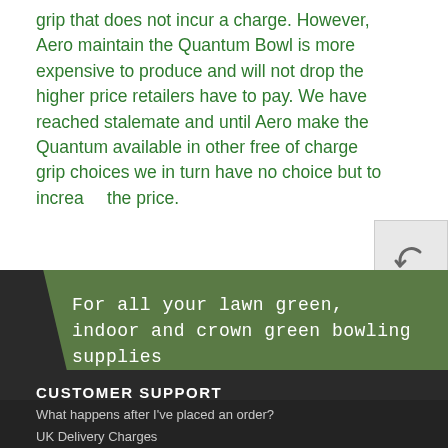grip that does not incur a charge. However, Aero maintain the Quantum Bowl is more expensive to produce and will not drop the higher price retailers have to pay. We have reached stalemate and until Aero make the Quantum available in other free of charge grip choices we in turn have no choice but to increase the price.
[Figure (other): Reply button icon (curved arrow/undo symbol) in a light grey square box]
For all your lawn green, indoor and crown green bowling supplies
CUSTOMER SUPPORT
What happens after I've placed an order?
UK Delivery Charges
Isle of Man Orders
Overseas Shipping